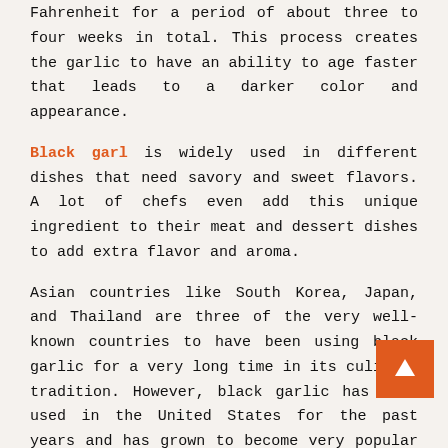Fahrenheit for a period of about three to four weeks in total. This process creates the garlic to have an ability to age faster that leads to a darker color and appearance.
Black garl is widely used in different dishes that need savory and sweet flavors. A lot of chefs even add this unique ingredient to their meat and dessert dishes to add extra flavor and aroma.
Asian countries like South Korea, Japan, and Thailand are three of the very well-known countries to have been using black garlic for a very long time in its culinary tradition. However, black garlic has been used in the United States for the past years and has grown to become very popular for many kitchens in restaurants, hotels, and even households.
However, people do not just use it as a new addition to their cooking recipes, but for its health benefits that make it more amazing. If you read the rest of this post, you will learn some of its amazing benefits.